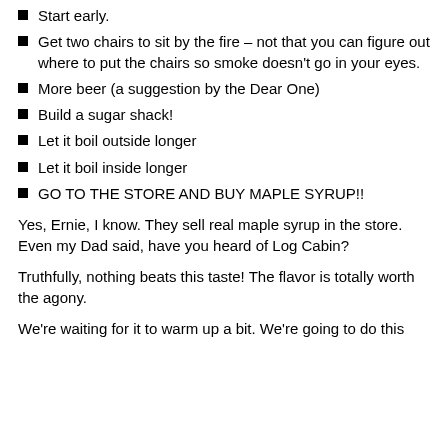Start early.
Get two chairs to sit by the fire – not that you can figure out where to put the chairs so smoke doesn't go in your eyes.
More beer (a suggestion by the Dear One)
Build a sugar shack!
Let it boil outside longer
Let it boil inside longer
GO TO THE STORE AND BUY MAPLE SYRUP!!
Yes, Ernie, I know. They sell real maple syrup in the store. Even my Dad said, have you heard of Log Cabin?
Truthfully, nothing beats this taste! The flavor is totally worth the agony.
We're waiting for it to warm up a bit. We're going to do this